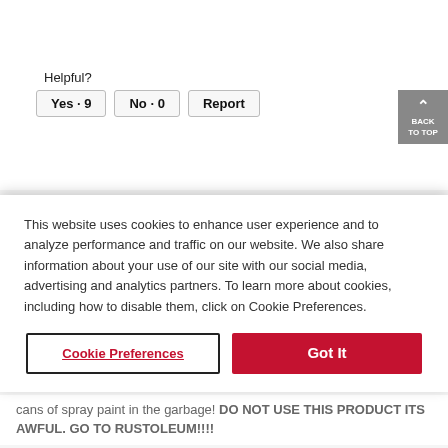[Figure (photo): Partial photo of a product/spray paint can, partially cropped at top]
Helpful?
Yes · 9   No · 0   Report
This website uses cookies to enhance user experience and to analyze performance and traffic on our website. We also share information about your use of our site with our social media, advertising and analytics partners. To learn more about cookies, including how to disable them, click on Cookie Preferences.
Cookie Preferences
Got It
cans of spray paint in the garbage! DO NOT USE THIS PRODUCT ITS AWFUL. GO TO RUSTOLEUM!!!!